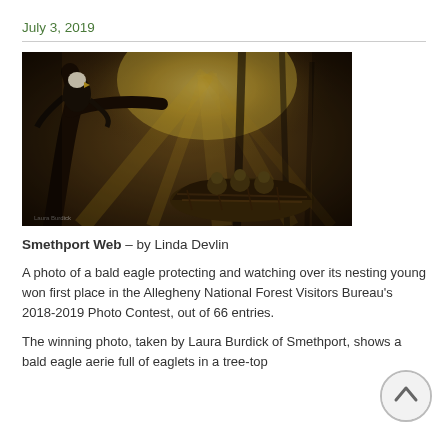July 3, 2019
[Figure (photo): A bald eagle perched on a branch over a nest with eaglets, dramatic golden backlit misty forest scene.]
Smethport Web – by Linda Devlin
A photo of a bald eagle protecting and watching over its nesting young won first place in the Allegheny National Forest Visitors Bureau's 2018-2019 Photo Contest, out of 66 entries.
The winning photo, taken by Laura Burdick of Smethport, shows a bald eagle aerie full of eaglets in a tree-top surrounded in misty beams of sunlight, stretching i...